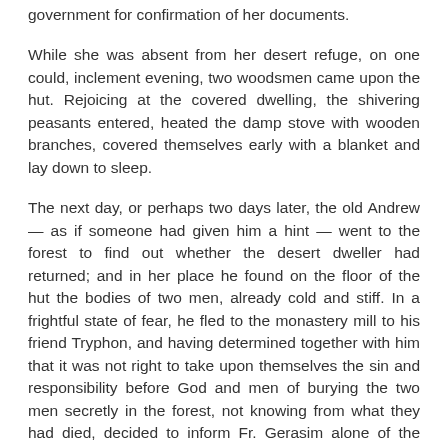government for confirmation of her documents.
While she was absent from her desert refuge, on one could, inclement evening, two woodsmen came upon the hut. Rejoicing at the covered dwelling, the shivering peasants entered, heated the damp stove with wooden branches, covered themselves early with a blanket and lay down to sleep.
The next day, or perhaps two days later, the old Andrew — as if someone had given him a hint — went to the forest to find out whether the desert dweller had returned; and in her place he found on the floor of the hut the bodies of two men, already cold and stiff. In a frightful state of fear, he fled to the monastery mill to his friend Tryphon, and having determined together with him that it was not right to take upon themselves the sin and responsibility before God and men of burying the two men secretly in the forest, not knowing from what they had died, decided to inform Fr. Gerasim alone of the misfortune. The elder wept over the unexpected trial which had come upon the desert dweller, and went to the superior of the monastery with this sad report. Fr. Metrophan